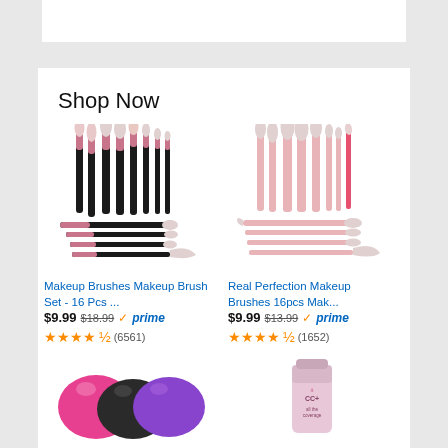Shop Now
[Figure (photo): Makeup brush set with 16 pieces, black handles with rose gold/pink, fan-out display]
Makeup Brushes Makeup Brush Set - 16 Pcs ...
$9.99  $18.99  ✓prime
★★★★½ (6561)
[Figure (photo): Real Perfection makeup brushes 16pcs with light pink handles]
Real Perfection Makeup Brushes 16pcs Mak...
$9.99  $13.99  ✓prime
★★★★½ (1652)
[Figure (photo): Colorful silicone makeup sponge/blender set in pink, black, and purple]
[Figure (photo): IT Cosmetics CC+ cream tube in light pink packaging]